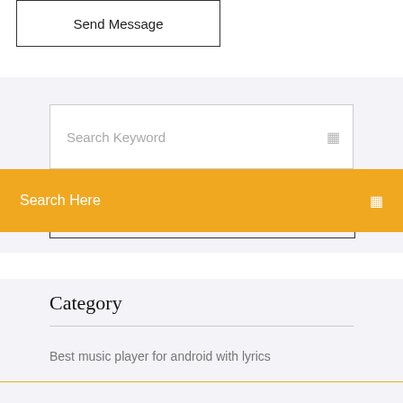[Figure (screenshot): Send Message button inside a bordered box]
[Figure (screenshot): Search Keyword input field with a search icon on the right, on a light gray background]
Search Here
Category
Best music player for android with lyrics